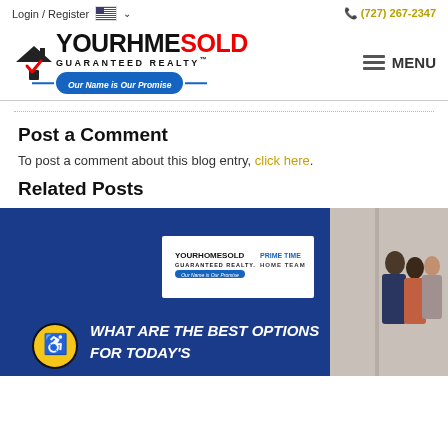Login / Register  (727) 267-2347
[Figure (logo): Your Home Sold Guaranteed Realty logo with house icon and tagline 'Our Name is Our Promise']
Post a Comment
To post a comment about this blog entry, click here.
Related Posts
[Figure (photo): Related post image showing 'What Are The Best Options For Today's' with Your Home Sold Guaranteed Realty and Prime Time Home Team logos, people in background]